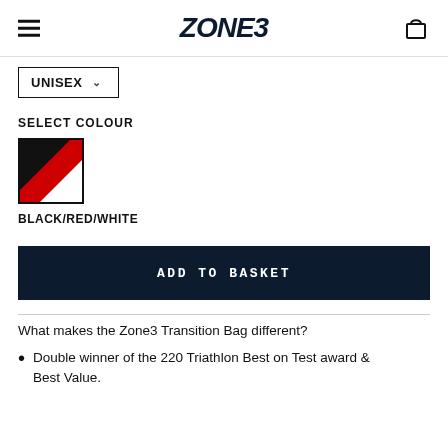ZONE3
UNISEX
SELECT COLOUR
[Figure (illustration): Colour swatch showing diagonal stripes of black, red, and white]
BLACK/RED/WHITE
ADD TO BASKET
What makes the Zone3 Transition Bag different?
Double winner of the 220 Triathlon Best on Test award & Best Value.